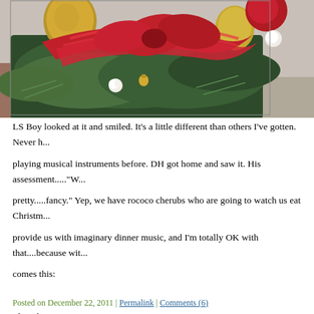[Figure (photo): Christmas floral arrangement with red ribbons, gold ornaments, red and white flowers, and green pine branches on a stone surface.]
LS Boy looked at it and smiled. It's a little different than others I've gotten. Never h... playing musical instruments before. DH got home and saw it. His assessment...."W... pretty.....fancy." Yep, we have rococo cherubs who are going to watch us eat Christm... provide us with imaginary dinner music, and I'm totally OK with that....because wit... comes this:
I love him, too.
But I do have this strange urge to gold-leaf the ceiling.
Posted on December 22, 2011 | Permalink | Comments (6)